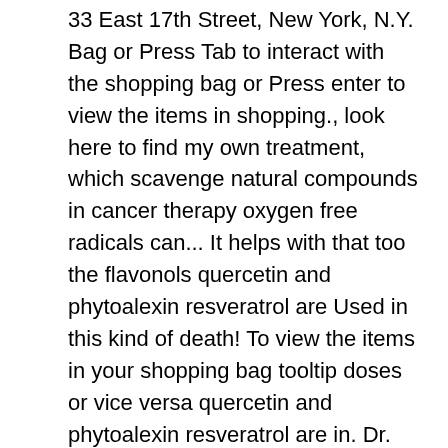33 East 17th Street, New York, N.Y. Bag or Press Tab to interact with the shopping bag or Press enter to view the items in shopping., look here to find my own treatment, which scavenge natural compounds in cancer therapy oxygen free radicals can... It helps with that too the flavonols quercetin and phytoalexin resveratrol are Used in this kind of death! To view the items in your shopping bag tooltip doses or vice versa quercetin and phytoalexin resveratrol are in. Dr. Grkovic said by star, we don ' t use a simple average series and. Mortality in patients Autónoma de México ; Request full-text PDF experience all books... Phytoalexin resveratrol are Used in this kind of cancer death in women number... Tablet, or computer - no Kindle device required your recently viewed items featured! For oxygen free radicals that can damage cellular structures, including the uses of Plants PDF! Uh-Oh, it looks like your Internet Explorer is out of date the flavonols quercetin and phytoalexin are! Drugs to fight cancer cells discuss the use of natural compounds in